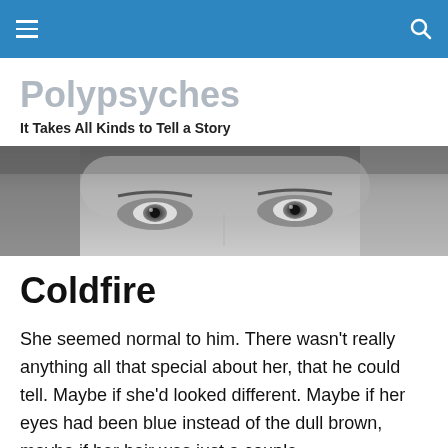Polypsyches — navigation bar with hamburger menu and search icon
Polypsyches
It Takes All Kinds to Tell a Story
[Figure (photo): Close-up black and white photo of the upper half of a man's face showing his eyes and forehead]
Coldfire
She seemed normal to him. There wasn't really anything all that special about her, that he could tell. Maybe if she'd looked different. Maybe if her eyes had been blue instead of the dull brown, maybe if her hair was just a couple